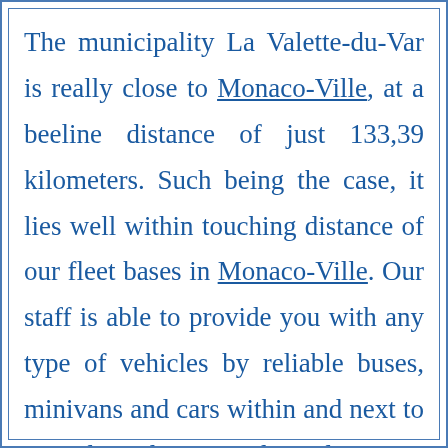The municipality La Valette-du-Var is really close to Monaco-Ville, at a beeline distance of just 133,39 kilometers. Such being the case, it lies well within touching distance of our fleet bases in Monaco-Ville. Our staff is able to provide you with any type of vehicles by reliable buses, minivans and cars within and next to La Valette-du-Var, and supply you